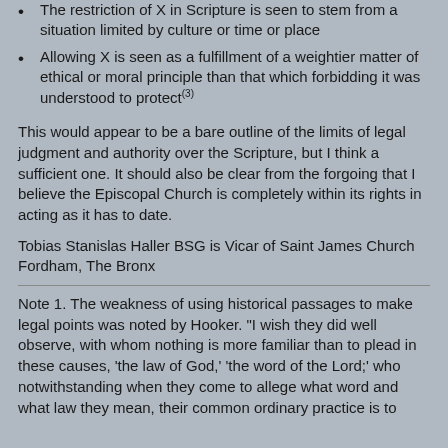The restriction of X in Scripture is seen to stem from a situation limited by culture or time or place
Allowing X is seen as a fulfillment of a weightier matter of ethical or moral principle than that which forbidding it was understood to protect(3)
This would appear to be a bare outline of the limits of legal judgment and authority over the Scripture, but I think a sufficient one. It should also be clear from the forgoing that I believe the Episcopal Church is completely within its rights in acting as it has to date.
Tobias Stanislas Haller BSG is Vicar of Saint James Church Fordham, The Bronx
Note 1. The weakness of using historical passages to make legal points was noted by Hooker. "I wish they did well observe, with whom nothing is more familiar than to plead in these causes, 'the law of God,' 'the word of the Lord;' who notwithstanding when they come to allege what word and what law they mean, their common ordinary practice is to